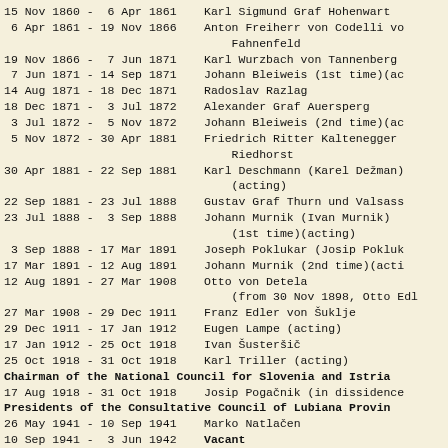15 Nov 1860 -  6 Apr 1861   Karl Sigmund Graf Hohenwart
6 Apr 1861 - 19 Nov 1866   Anton Freiherr von Codelli vo Fahnenfeld
19 Nov 1866 -  7 Jun 1871   Karl Wurzbach von Tannenberg
7 Jun 1871 - 14 Sep 1871   Johann Bleiweis (1st time)(ac
14 Aug 1871 - 18 Dec 1871   Radoslav Razlag
18 Dec 1871 -  3 Jul 1872   Alexander Graf Auersperg
3 Jul 1872 -  5 Nov 1872   Johann Bleiweis (2nd time)(ac
5 Nov 1872 - 30 Apr 1881   Friedrich Ritter Kaltenegger Riedhorst
30 Apr 1881 - 22 Sep 1881   Karl Deschmann (Karel Dežman) (acting)
22 Sep 1881 - 23 Jul 1888   Gustav Graf Thurn und Valsass
23 Jul 1888 -  3 Sep 1888   Johann Murnik (Ivan Murnik) (1st time)(acting)
3 Sep 1888 - 17 Mar 1891   Joseph Poklukar (Josip Pokluk
17 Mar 1891 - 12 Aug 1891   Johann Murnik (2nd time)(acti
12 Aug 1891 - 27 Mar 1908   Otto von Detela (from 30 Nov 1898, Otto Edl
27 Mar 1908 - 29 Dec 1911   Franz Edler von Šuklje
29 Dec 1911 - 17 Jan 1912   Eugen Lampe (acting)
17 Jan 1912 - 25 Oct 1918   Ivan Šusteršič
25 Oct 1918 - 31 Oct 1918   Karl Triller (acting)
Chairman of the National Council for Slovenia and Istria
17 Aug 1918 - 31 Oct 1918   Josip Pogačnik (in dissidence
Presidents of the Consultative Council of Lubiana Provin
26 May 1941 - 10 Sep 1941   Marko Natlačen
10 Sep 1941 -  3 Jun 1942   Vacant
3 Jun 1942 - 22 Sep 1943   Leon "Lev" Rupnik
Chairman of the Executive Council